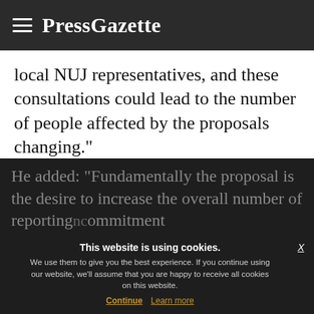PressGazette
local NUJ representatives, and these consultations could lead to the number of people affected by the proposals changing."
He confirmed that under these plans, editorial staff in South East London would work remotely and that a six-week consultation period has begun.
He added: "Fundamentally the proposal is the desire to increase the overall number of reporting and photographer commitment
This website is using cookies. We use them to give you the best experience. If you continue using our website, we'll assume that you are happy to receive all cookies on this website. Continue  Learn more